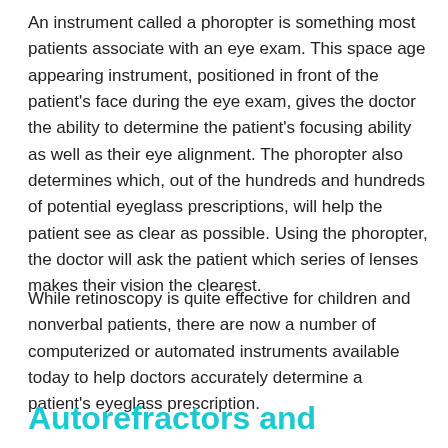An instrument called a phoropter is something most patients associate with an eye exam. This space age appearing instrument, positioned in front of the patient's face during the eye exam, gives the doctor the ability to determine the patient's focusing ability as well as their eye alignment. The phoropter also determines which, out of the hundreds and hundreds of potential eyeglass prescriptions, will help the patient see as clear as possible. Using the phoropter, the doctor will ask the patient which series of lenses makes their vision the clearest.
While retinoscopy is quite effective for children and nonverbal patients, there are now a number of computerized or automated instruments available today to help doctors accurately determine a patient's eyeglass prescription.
Autorefractors and